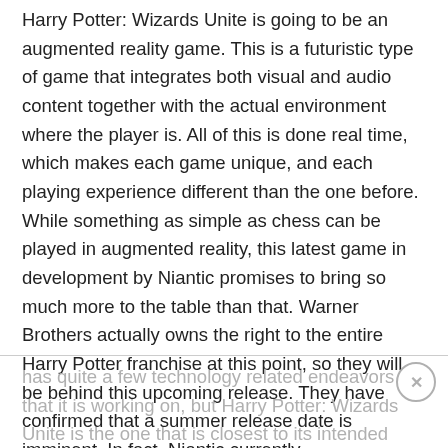Harry Potter: Wizards Unite is going to be an augmented reality game. This is a futuristic type of game that integrates both visual and audio content together with the actual environment where the player is. All of this is done real time, which makes each game unique, and each playing experience different than the one before. While something as simple as chess can be played in augmented reality, this latest game in development by Niantic promises to bring so much more to the table than that. Warner Brothers actually owns the right to the entire Harry Potter franchise at this point, so they will be behind this upcoming release. They have confirmed that a summer release date is imminent. In fact, Niantic currently
has quite a few technology related endeavors that it is working on, but Harry Potter: Wizards Unite is the one that is closest to its intended release date.